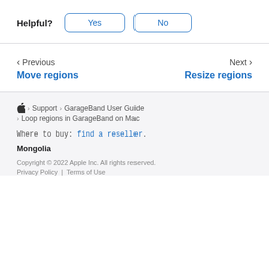Helpful? Yes No
< Previous
Move regions
Next >
Resize regions
Apple logo > Support > GarageBand User Guide
> Loop regions in GarageBand on Mac
Where to buy: find a reseller.
Mongolia
Copyright © 2022 Apple Inc. All rights reserved.
Privacy Policy | Terms of Use